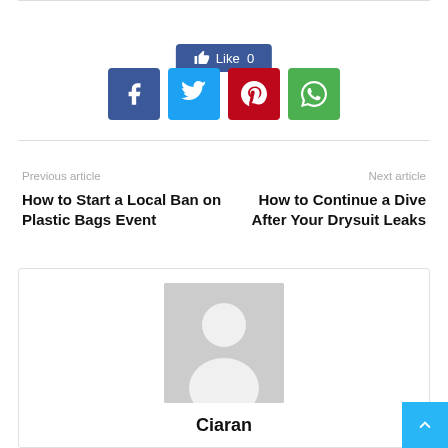[Figure (other): Facebook Like button showing Like 0]
[Figure (other): Social share icons: Facebook, Twitter, Pinterest, WhatsApp]
Previous article
Next article
How to Start a Local Ban on Plastic Bags Event
How to Continue a Dive After Your Drysuit Leaks
[Figure (photo): Author avatar placeholder image with silhouette]
Ciaran